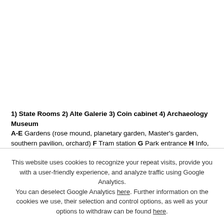1) State Rooms 2) Alte Galerie 3) Coin cabinet 4) Archaeology Museum A-E Gardens (rose mound, planetary garden, Master's garden, southern pavilion, orchard) F Tram station G Park entrance H Info, Tickets und
This website uses cookies to recognize your repeat visits, provide you with a user-friendly experience, and analyze traffic using Google Analytics. You can deselect Google Analytics here. Further information on the cookies we use, their selection and control options, as well as your options to withdraw can be found here.